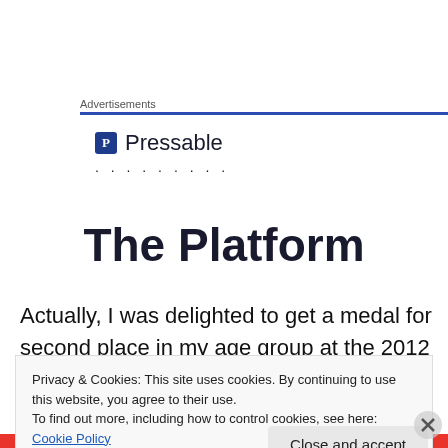Advertisements
[Figure (logo): Pressable logo with blue P icon and dotted underline]
The Platform
Actually, I was delighted to get a medal for second place in my age group at the 2012 Bizz Johnson 50K, which I ran while in persistent atrial fibrillation. That was the first year
Privacy & Cookies: This site uses cookies. By continuing to use this website, you agree to their use.
To find out more, including how to control cookies, see here: Cookie Policy
Close and accept